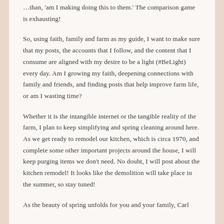…than, 'am I making doing this to them.' The comparison game is exhausting!
So, using faith, family and farm as my guide, I want to make sure that my posts, the accounts that I follow, and the content that I consume are aligned with my desire to be a light (#BeLight) every day. Am I growing my faith, deepening connections with family and friends, and finding posts that help improve farm life, or am I wasting time?
Whether it is the intangible internet or the tangible reality of the farm, I plan to keep simplifying and spring cleaning around here. As we get ready to remodel our kitchen, which is circa 1970, and complete some other important projects around the house, I will keep purging items we don't need. No doubt, I will post about the kitchen remodel! It looks like the demolition will take place in the summer, so stay tuned!
As the beauty of spring unfolds for you and your family, Carl